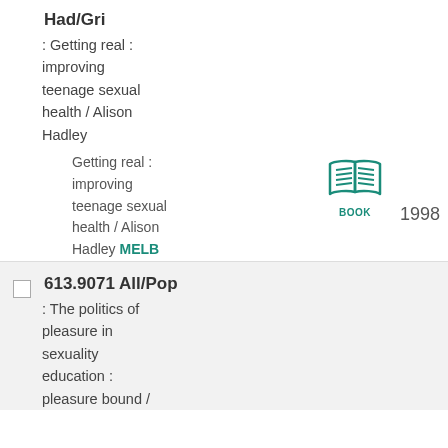Had/Gri
: Getting real : improving teenage sexual health / Alison Hadley
Getting real : improving teenage sexual health / Alison Hadley MELB
[Figure (illustration): Book icon in teal/green color with label BOOK]
1998
613.9071 All/Pop
: The politics of pleasure in sexuality education : pleasure bound /